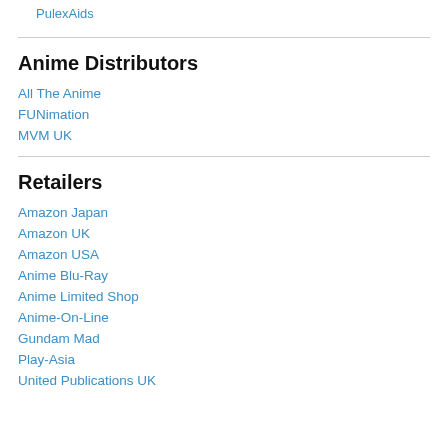PulexAids
Anime Distributors
All The Anime
FUNimation
MVM UK
Retailers
Amazon Japan
Amazon UK
Amazon USA
Anime Blu-Ray
Anime Limited Shop
Anime-On-Line
Gundam Mad
Play-Asia
United Publications UK